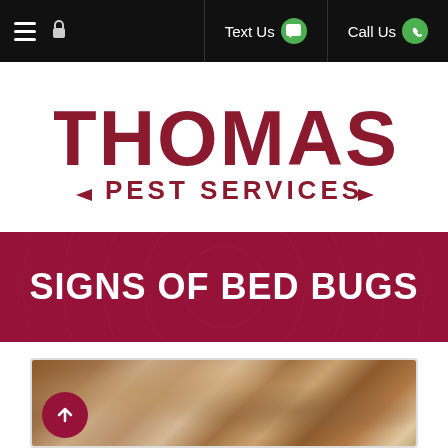Thomas Pest Services — Navigation bar with menu, lock, Text Us, Call Us
[Figure (logo): Thomas Pest Services logo — bold red serif THOMAS lettering above red PEST SERVICES text with arrow decorations]
SIGNS OF BED BUGS
[Figure (photo): Close-up macro photograph of bed bug shells/exoskeletons and debris]